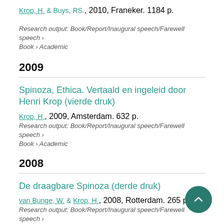Krop, H. & Buys, RS., 2010, Franeker. 1184 p.
Research output: Book/Report/Inaugural speech/Farewell speech › Book › Academic
2009
Spinoza, Ethica. Vertaald en ingeleid door Henri Krop (vierde druk)
Krop, H., 2009, Amsterdam. 632 p.
Research output: Book/Report/Inaugural speech/Farewell speech › Book › Academic
2008
De draagbare Spinoza (derde druk)
van Bunge, W. & Krop, H., 2008, Rotterdam. 265 p.
Research output: Book/Report/Inaugural speech/Farewell speech ›